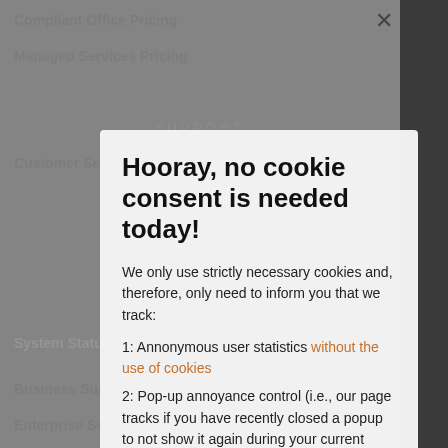Compliant Office Pricing
Managed Services Pricing
Professional Services Pricing
SUPPORT
Customer Service
Knowledge Base
OpenStack Documentation
OpenStack API Documentation
System Status Public Cloud
System Status Compliant Cloud
Business Support
Enterprise Support
Hooray, no cookie consent is needed today!
We only use strictly necessary cookies and, therefore, only need to inform you that we track:
1: Annonymous user statistics without the use of cookies
2: Pop-up annoyance control (i.e., our page tracks if you have recently closed a popup to not show it again during your current session)
Gotcha